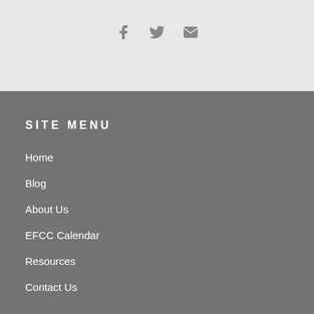[Figure (other): Social media icons: Facebook (f), Twitter (bird), Email (envelope) in a light gray top bar]
SITE MENU
Home
Blog
About Us
EFCC Calendar
Resources
Contact Us